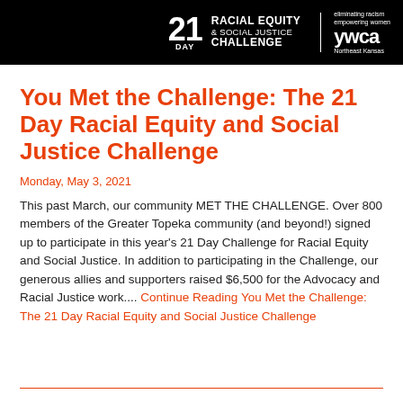[Figure (logo): 21 Day Racial Equity & Social Justice Challenge YWCA Northeast Kansas logo on black background banner]
You Met the Challenge: The 21 Day Racial Equity and Social Justice Challenge
Monday, May 3, 2021
This past March, our community MET THE CHALLENGE. Over 800 members of the Greater Topeka community (and beyond!) signed up to participate in this year's 21 Day Challenge for Racial Equity and Social Justice. In addition to participating in the Challenge, our generous allies and supporters raised $6,500 for the Advocacy and Racial Justice work.... Continue Reading You Met the Challenge: The 21 Day Racial Equity and Social Justice Challenge